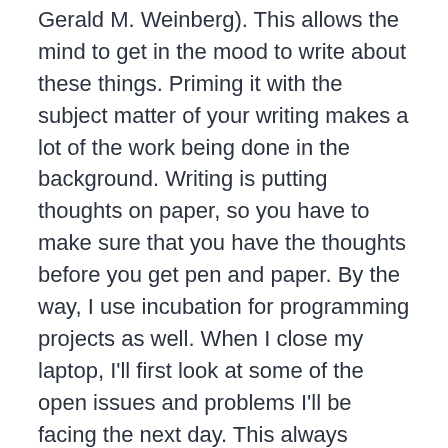Gerald M. Weinberg). This allows the mind to get in the mood to write about these things. Priming it with the subject matter of your writing makes a lot of the work being done in the background. Writing is putting thoughts on paper, so you have to make sure that you have the thoughts before you get pen and paper. By the way, I use incubation for programming projects as well. When I close my laptop, I'll first look at some of the open issues and problems I'll be facing the next day. This always makes my work easier the next day I open the laptop again.
After the first draft is done, let it rest. Do